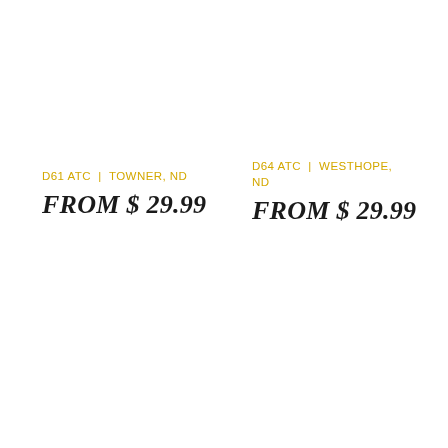D61 ATC | TOWNER, ND
FROM $ 29.99
D64 ATC | WESTHOPE, ND
FROM $ 29.99